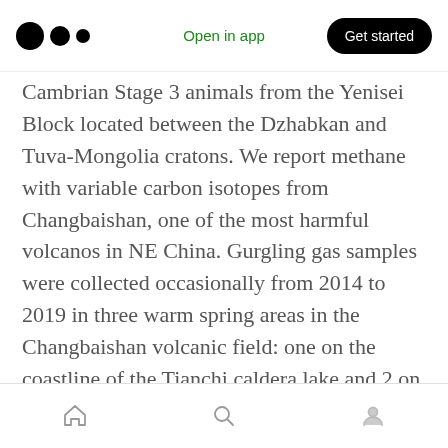Open in app | Get started
Cambrian Stage 3 animals from the Yenisei Block located between the Dzhabkan and Tuva-Mongolia cratons. We report methane with variable carbon isotopes from Changbaishan, one of the most harmful volcanos in NE China. Gurgling gas samples were collected occasionally from 2014 to 2019 in three warm spring areas in the Changbaishan volcanic field: one on the coastline of the Tianchi caldera lake and 2 on the north and southwest flanks.
Please keep in mind that the text is machine-generated by the Brevi Technologies' Natural
Home | Search | Profile